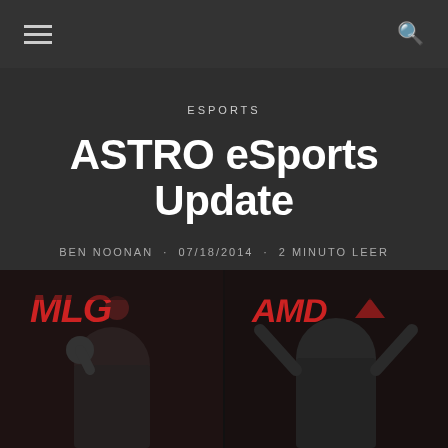Navigation header with menu and search icons
ESPORTS
ASTRO eSports Update
BEN NOONAN · 07/18/2014 · 2 MINUTO LEER
[Figure (photo): Photo of two esports players at an MLG and AMD event, one celebrating with fist pump, another with arms raised, both wearing gaming headsets]